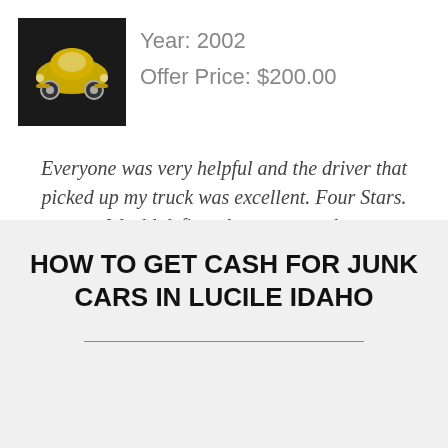[Figure (photo): Small thumbnail image of a gold/yellow classic Volkswagen Beetle car on a black background]
Year: 2002
Offer Price: $200.00
Everyone was very helpful and the driver that picked up my truck was excellent. Four Stars. Would definately recommend.
JPH956 - Pocatello, ID
HOW TO GET CASH FOR JUNK CARS IN LUCILE IDAHO